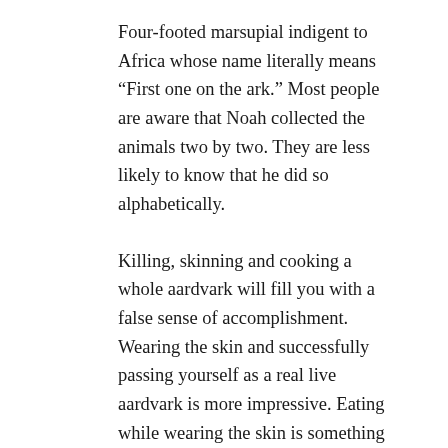Four-footed marsupial indigent to Africa whose name literally means “First one on the ark.” Most people are aware that Noah collected the animals two by two. They are less likely to know that he did so alphabetically.
Killing, skinning and cooking a whole aardvark will fill you with a false sense of accomplishment. Wearing the skin and successfully passing yourself as a real live aardvark is more impressive. Eating while wearing the skin is something to write home about. Tastes of chicken.